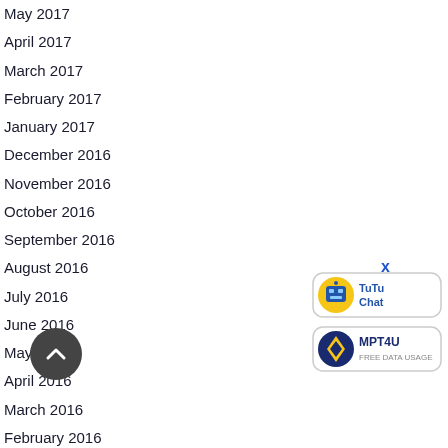May 2017
April 2017
March 2017
February 2017
January 2017
December 2016
November 2016
October 2016
September 2016
August 2016
July 2016
June 2016
May 2016
April 2016
March 2016
February 2016
January 2016
[Figure (other): Scroll to top circular button with up arrow]
[Figure (logo): TuTu Chat chatbot badge with robot icon]
[Figure (logo): MPT4U Free Data Usage badge with diamond icon]